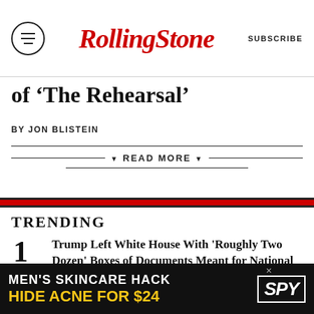RollingStone | SUBSCRIBE
of 'The Rehearsal'
BY JON BLISTEIN
▼ READ MORE ▼
TRENDING
1 Trump Left White House With 'Roughly Two Dozen' Boxes of Documents Meant for National Archives
2 Bill Paxton's Family Settles Wrongful Death Suit
[Figure (infographic): Advertisement banner: MEN'S SKINCARE HACK / HIDE ACNE FOR $24 / SPY logo]